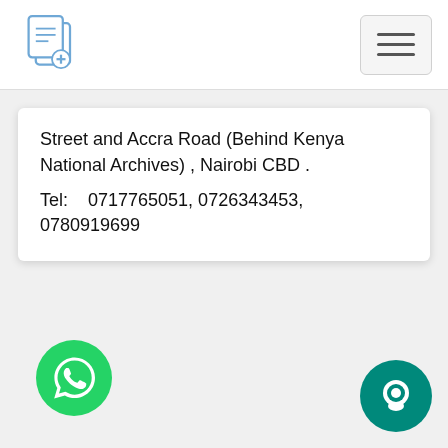[Figure (logo): Document/clipboard icon logo in blue outline style]
[Figure (other): Hamburger menu button with three horizontal lines]
Street and Accra Road (Behind Kenya National Archives) , Nairobi CBD .
Tel:    0717765051, 0726343453, 0780919699
[Figure (other): WhatsApp green circle icon with phone handset]
[Figure (other): Teal chat/message circle icon]